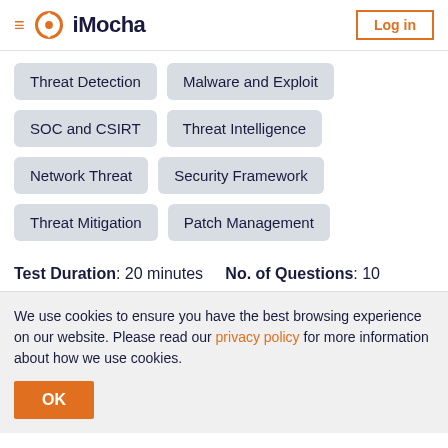iMocha — Log in
Threat Detection
Malware and Exploit
SOC and CSIRT
Threat Intelligence
Network Threat
Security Framework
Threat Mitigation
Patch Management
Test Duration: 20 minutes   No. of Questions: 10
We use cookies to ensure you have the best browsing experience on our website. Please read our privacy policy for more information about how we use cookies.